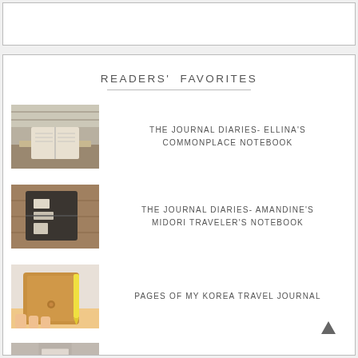[Figure (illustration): Empty white rectangle at top of page]
READERS' FAVORITES
[Figure (photo): Photo of an open journal/notebook on a wooden table in a cafe or library setting]
THE JOURNAL DIARIES- ELLINA'S COMMONPLACE NOTEBOOK
[Figure (photo): Photo of a dark Midori Traveler's Notebook with stickers on it, on a wooden surface]
THE JOURNAL DIARIES- AMANDINE'S MIDORI TRAVELER'S NOTEBOOK
[Figure (photo): Photo of a tan/brown leather journal being held open by a hand with a yellow pen]
PAGES OF MY KOREA TRAVEL JOURNAL
[Figure (photo): Partial photo at bottom of page, partially cropped]